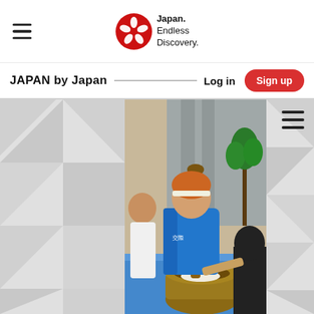Japan. Endless Discovery. (JNTO logo)
JAPAN by Japan
Log in
Sign up
[Figure (photo): A person in a blue happi coat and headband performing mochi pounding (mochitsuki) with a wooden mallet in a large wooden mortar, while another person assists by turning the mochi. A woman in a white t-shirt watches and laughs in the background. The setting appears to be an indoor event space with a blue tarp on the floor.]